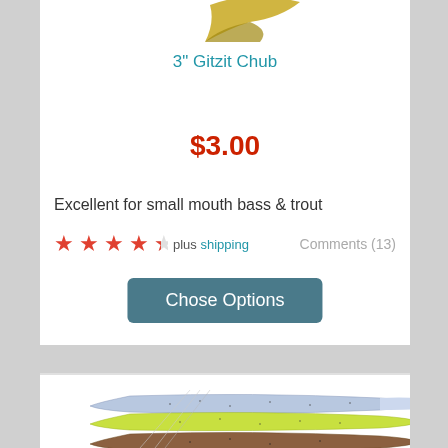[Figure (photo): Partial view of a fishing lure (Gitzit Chub) at top of card, showing tail portion in yellow-green color]
3" Gitzit Chub
$3.00
Excellent for small mouth bass & trout
★★★★½ plus shipping   Comments (13)
Chose Options
[Figure (photo): Fishing lures in multiple colors (blue/white, chartreuse, brown/watermelon) showing split-tail soft plastic bait design]